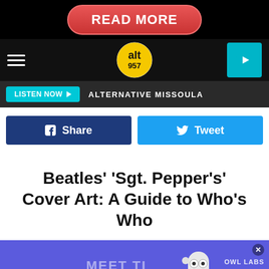[Figure (screenshot): READ MORE button - red pill-shaped button with white bold text on black background]
[Figure (logo): alt 957 radio station logo - circular yellow and black logo]
[Figure (screenshot): LISTEN NOW button with teal background and play arrow, followed by ALTERNATIVE MISSOULA text on dark bar]
[Figure (screenshot): Facebook Share button (dark blue) and Twitter Tweet button (light blue) side by side]
Beatles’ ‘Sgt. Pepper’s’ Cover Art: A Guide to Who’s Who
[Figure (screenshot): Advertisement banner with purple background showing MEET TI text and OWL LABS owl figure]